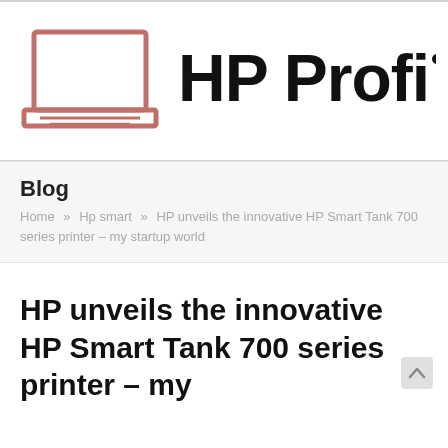[Figure (logo): HP Profile blog logo — laptop icon in rose/salmon outline next to bold text 'HP Profi' (truncated)]
Blog
Home » Hp smart » HP unveils the innovative HP Smart Tank 700 series printer – my startup world
HP unveils the innovative HP Smart Tank 700 series printer – my